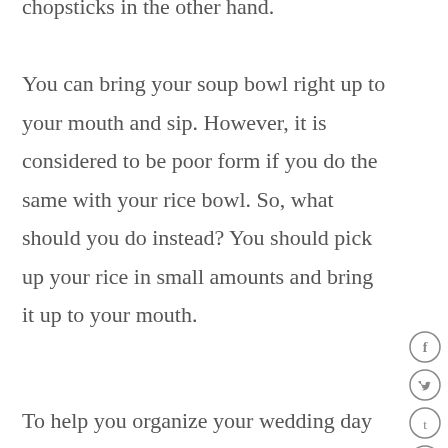chopsticks in the other hand. You can bring your soup bowl right up to your mouth and sip. However, it is considered to be poor form if you do the same with your rice bowl. So, what should you do instead? You should pick up your rice in small amounts and bring it up to your mouth.
To help you organize your wedding day dinner, select the beverages for